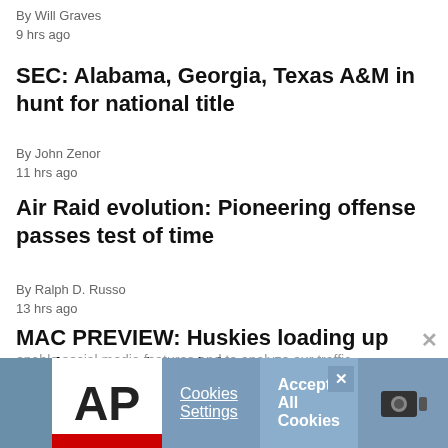By Will Graves
9 hrs ago
SEC: Alabama, Georgia, Texas A&M in hunt for national title
By John Zenor
11 hrs ago
Air Raid evolution: Pioneering offense passes test of time
By Ralph D. Russo
13 hrs ago
MAC PREVIEW: Huskies loading up to chase 2nd straight crown
By Michael Marot
14 hrs ago
enable social media features and to analyze our traffic. We also share information about your use of our site with our social media, advertising and analytics partners. Privacy Policy
[Figure (screenshot): Cookie consent bar at the bottom with AP logo, Cookies Settings button, Accept All Cookies button, and a close X button. Ad banner with partial images on left and right sides.]